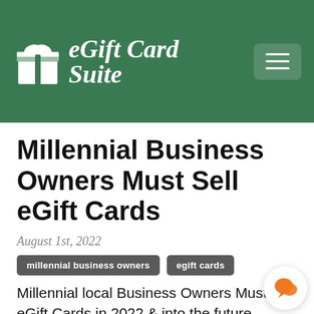[Figure (logo): eGift Card Suite logo with gift box icon and script text on green header bar]
Millennial Business Owners Must Sell eGift Cards
August 1st, 2022
millennial business owners
egift cards
Millennial local Business Owners Must Sell eGift Cards in 2022 & into the future. Selling business